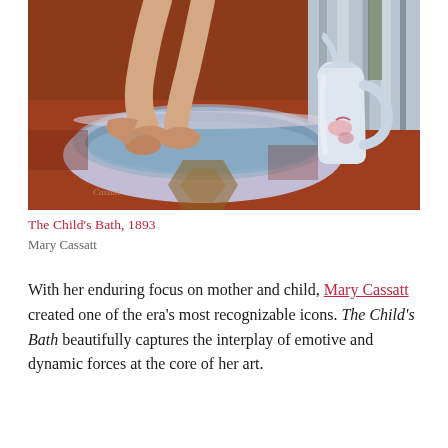[Figure (illustration): Painting of a child's feet being washed in a basin, with a white pitcher on the right and a patterned floor rug beneath. The painting is 'The Child's Bath' by Mary Cassatt, 1893. The scene shows a close-up view from above, with the child's bare legs and feet in a lavender basin, an adult's hands visible, and colorful floor tiles.]
The Child's Bath, 1893
Mary Cassatt
With her enduring focus on mother and child, Mary Cassatt created one of the era's most recognizable icons. The Child's Bath beautifully captures the interplay of emotive and dynamic forces at the core of her art.